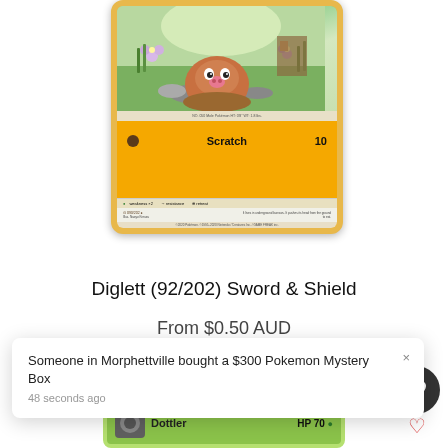[Figure (illustration): Diglett Pokemon trading card (92/202) from Sword & Shield set with yellow/orange background, showing the Diglett character emerging from the ground with 'Scratch 10' move listed]
Diglett (92/202) Sword & Shield
From $0.50 AUD
Someone in Morphettville bought a $300 Pokemon Mystery Box
48 seconds ago
[Figure (illustration): Partial view of a Dottler Pokemon card with green background and HP 70 visible at the bottom of the page]